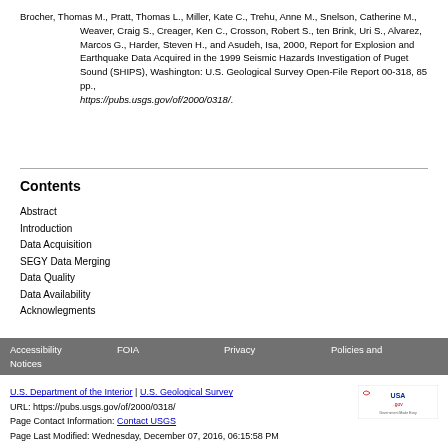Brocher, Thomas M., Pratt, Thomas L., Miller, Kate C., Trehu, Anne M., Snelson, Catherine M., Weaver, Craig S., Creager, Ken C., Crosson, Robert S., ten Brink, Uri S., Alvarez, Marcos G., Harder, Steven H., and Asudeh, Isa, 2000, Report for Explosion and Earthquake Data Acquired in the 1999 Seismic Hazards Investigation of Puget Sound (SHIPS), Washington: U.S. Geological Survey Open-File Report 00-318, 85 pp., https://pubs.usgs.gov/of/2000/0318/.
Contents
Abstract
Introduction
Data Acquisition
SEGY Data Merging
Data Quality
Data Availability
Acknowlegments
Accessibility Notices | FOIA | Privacy | Policies and
U.S. Department of the Interior | U.S. Geological Survey
URL: https://pubs.usgs.gov/of/2000/0318/
Page Contact Information: Contact USGS
Page Last Modified: Wednesday, December 07, 2016, 06:15:58 PM